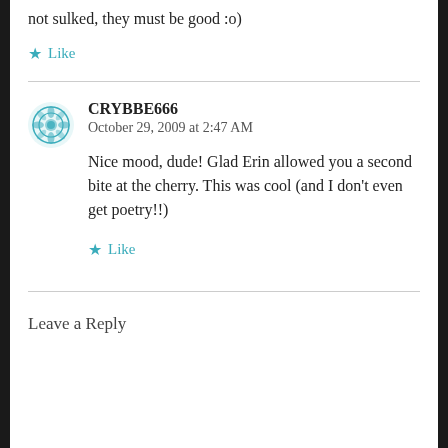not sulked, they must be good :o)
★ Like
CRYBBE666
October 29, 2009 at 2:47 AM
Nice mood, dude! Glad Erin allowed you a second bite at the cherry. This was cool (and I don't even get poetry!!)
★ Like
Leave a Reply